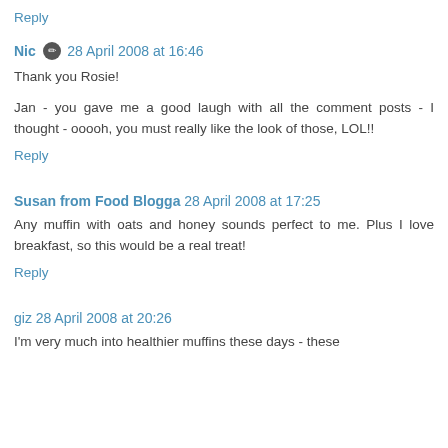Reply
Nic ✏ 28 April 2008 at 16:46
Thank you Rosie!
Jan - you gave me a good laugh with all the comment posts - I thought - ooooh, you must really like the look of those, LOL!!
Reply
Susan from Food Blogga 28 April 2008 at 17:25
Any muffin with oats and honey sounds perfect to me. Plus I love breakfast, so this would be a real treat!
Reply
giz 28 April 2008 at 20:26
I'm very much into healthier muffins these days - these